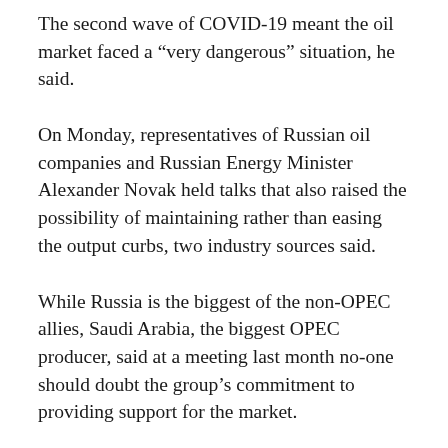The second wave of COVID-19 meant the oil market faced a “very dangerous” situation, he said.
On Monday, representatives of Russian oil companies and Russian Energy Minister Alexander Novak held talks that also raised the possibility of maintaining rather than easing the output curbs, two industry sources said.
While Russia is the biggest of the non-OPEC allies, Saudi Arabia, the biggest OPEC producer, said at a meeting last month no-one should doubt the group’s commitment to providing support for the market.
“We will not dodge our responsibilities in this regard,”